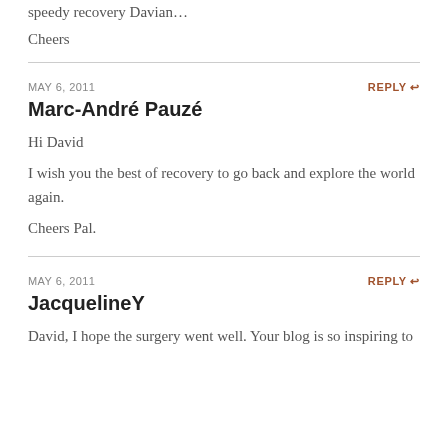speedy recovery Davian…
Cheers
MAY 6, 2011
REPLY ↩
Marc-André Pauzé
Hi David
I wish you the best of recovery to go back and explore the world again.
Cheers Pal.
MAY 6, 2011
REPLY ↩
JacquelineY
David, I hope the surgery went well. Your blog is so inspiring to